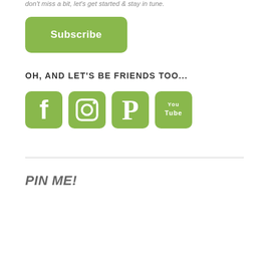don't miss a bit, let's get started & stay in tune.
[Figure (other): Green rounded rectangle Subscribe button]
OH, AND LET'S BE FRIENDS TOO...
[Figure (other): Social media icons: Facebook, Instagram, Pinterest, YouTube — all in green rounded square style]
PIN ME!